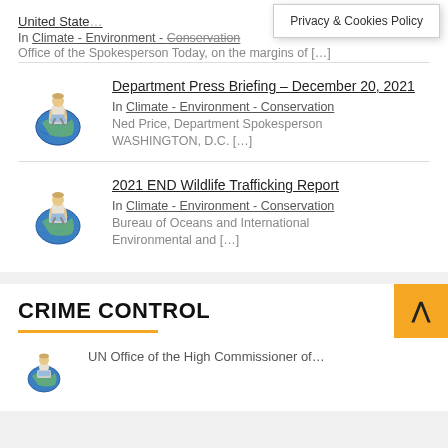United State[s…]
Privacy & Cookies Policy
In Climate - Environment - Conservation
Office of the Spokesperson Today, on the margins of […]
[Figure (illustration): Cartoon figure of a person sitting on a globe using a laptop computer]
Department Press Briefing – December 20, 2021
In Climate - Environment - Conservation
Ned Price, Department Spokesperson WASHINGTON, D.C. […]
[Figure (illustration): Cartoon figure of a person sitting on a globe using a laptop computer]
2021 END Wildlife Trafficking Report
In Climate - Environment - Conservation
Bureau of Oceans and International Environmental and […]
CRIME CONTROL
[Figure (illustration): Small cartoon globe icon at the bottom]
UN Office of the High Commissioner of…